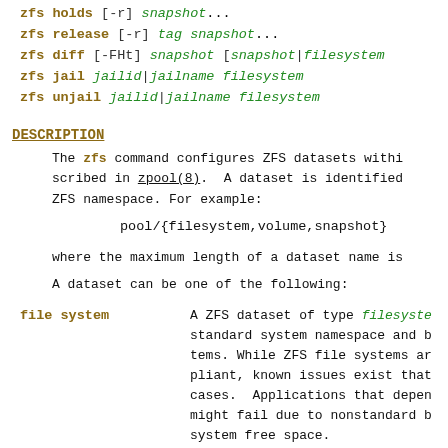zfs holds [-r] snapshot...
zfs release [-r] tag snapshot...
zfs diff [-FHt] snapshot [snapshot|filesystem]
zfs jail jailid|jailname filesystem
zfs unjail jailid|jailname filesystem
DESCRIPTION
The zfs command configures ZFS datasets within a pool, as described in zpool(8). A dataset is identified by a unique path in the ZFS namespace. For example:
pool/{filesystem,volume,snapshot}
where the maximum length of a dataset name is
A dataset can be one of the following:
file system - A ZFS dataset of type filesystem is mounted into the standard system namespace and behaves like other file systems. While ZFS file systems are POSIX compliant, known issues exist that prevent compliance in certain cases. Applications that depend on standards compliance might fail due to nonstandard behavior when checking file system free space.
volume - A logical volume exported as a block device. This type of dataset should only be used under special circumstances. File systems are typically used in most instances.